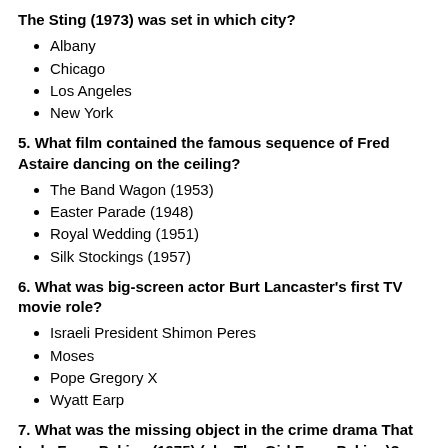The Sting (1973) was set in which city?
Albany
Chicago
Los Angeles
New York
5. What film contained the famous sequence of Fred Astaire dancing on the ceiling?
The Band Wagon (1953)
Easter Parade (1948)
Royal Wedding (1951)
Silk Stockings (1957)
6. What was big-screen actor Burt Lancaster's first TV movie role?
Israeli President Shimon Peres
Moses
Pope Gregory X
Wyatt Earp
7. What was the missing object in the crime drama That Lady From Peking (1975) (aka The Girl From Peking)?
Art statue
Diary
Fashion model
Jewels